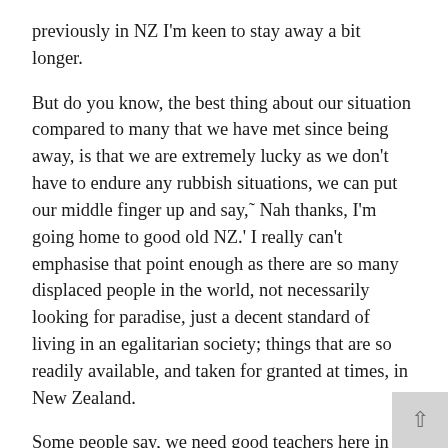previously in NZ I'm keen to stay away a bit longer.
But do you know, the best thing about our situation compared to many that we have met since being away, is that we are extremely lucky as we don't have to endure any rubbish situations, we can put our middle finger up and say,˜ Nah thanks, I'm going home to good old NZ.' I really can't emphasise that point enough as there are so many displaced people in the world, not necessarily looking for paradise, just a decent standard of living in an egalitarian society; things that are so readily available, and taken for granted at times, in New Zealand.
Some people say, we need good teachers here in NZ, and the good money and conditions offered overseas, in places like the Arab states, take good people away from the NZ system. (is this an argument for better conditions here!)
I do think that you get what you pay for in life (well life in the western societies) and it is all to do with value